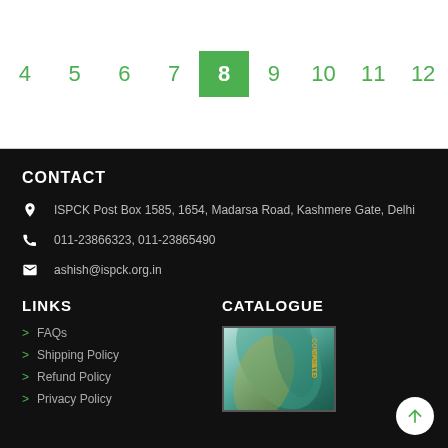4  5  6  7  8  9  10  11  12
CONTACT
ISPCK Post Box 1585, 1654, Madarsa Road, Kashmere Gate, Delhi
011-23866323, 011-23865490
ashish@ispck.org.in
LINKS
FAQs
Shipping Policy
Refund Policy
Privacy Policy
CATALOGUE
[Figure (photo): ISPCK Complete Catalogue book cover with green and gold swirl design]